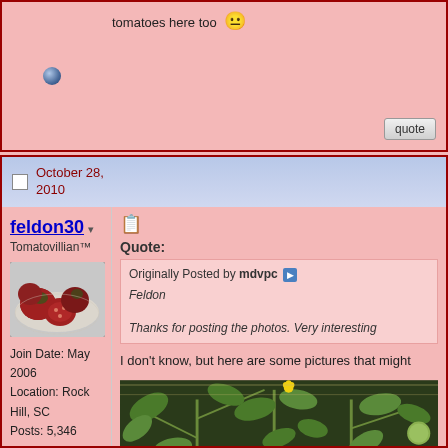tomatoes here too 😐
quote
October 28, 2010
feldon30
Tomatovillian™
[Figure (photo): Photo of dark red/green tomatoes on a plate]
Join Date: May 2006
Location: Rock Hill, SC
Posts: 5,346
Quote:
Originally Posted by mdvpc
Feldon

Thanks for posting the photos. Very interesting
I don't know, but here are some pictures that might
[Figure (photo): Photo of tomato plant with leaves and small tomatoes growing]